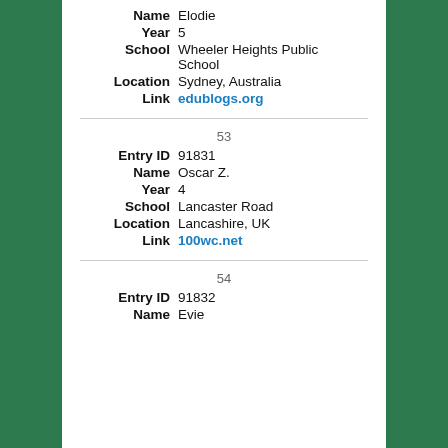Name  Elodie
Year  5
School  Wheeler Heights Public School
Location  Sydney, Australia
Link  edublogs.org
53
Entry ID  91831
Name  Oscar Z.
Year  4
School  Lancaster Road
Location  Lancashire, UK
Link  100wc.net
54
Entry ID  91832
Name  Evie